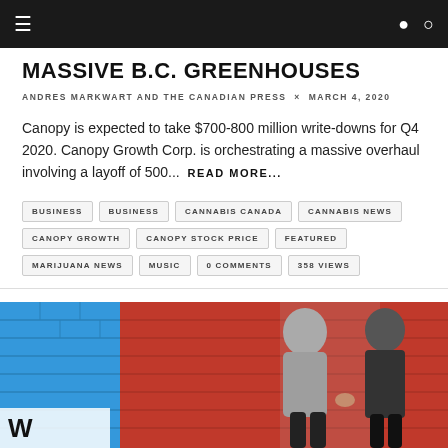≡  🔍 👤
MASSIVE B.C. GREENHOUSES
ANDRES MARKWART AND THE CANADIAN PRESS  ×  MARCH 4, 2020
Canopy is expected to take $700-800 million write-downs for Q4 2020. Canopy Growth Corp. is orchestrating a massive overhaul involving a layoff of 500...  READ MORE...
BUSINESS
BUSINESS
CANNABIS CANADA
CANNABIS NEWS
CANOPY GROWTH
CANOPY STOCK PRICE
FEATURED
MARIJUANA NEWS
MUSIC
0 COMMENTS
358 VIEWS
[Figure (photo): Two people holding hands standing in front of a red brick wall, one wearing a grey t-shirt and black pants, the other in dark clothing. Partial text visible at bottom.]